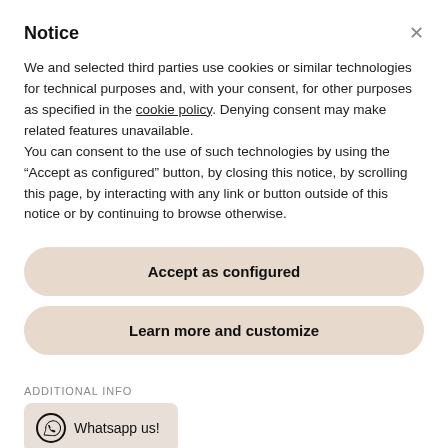Notice
We and selected third parties use cookies or similar technologies for technical purposes and, with your consent, for other purposes as specified in the cookie policy. Denying consent may make related features unavailable.
You can consent to the use of such technologies by using the “Accept as configured” button, by closing this notice, by scrolling this page, by interacting with any link or button outside of this notice or by continuing to browse otherwise.
Accept as configured
Learn more and customize
ADDITIONAL INFO
Whatsapp us!
FILL OUT RETURNS HERE